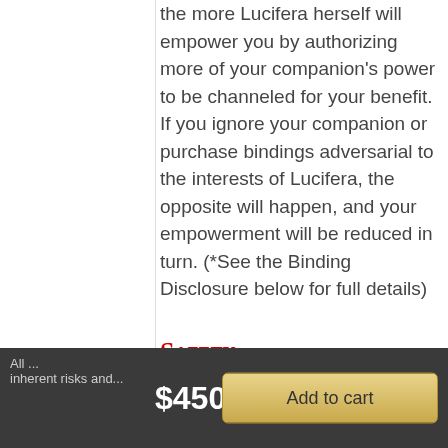the more Lucifera herself will empower you by authorizing more of your companion's power to be channeled for your benefit. If you ignore your companion or purchase bindings adversarial to the interests of Lucifera, the opposite will happen, and your empowerment will be reduced in turn. (*See the Binding Disclosure below for full details)
Safety Disclosure
All ... inherent risks and... $450.00  Add to cart